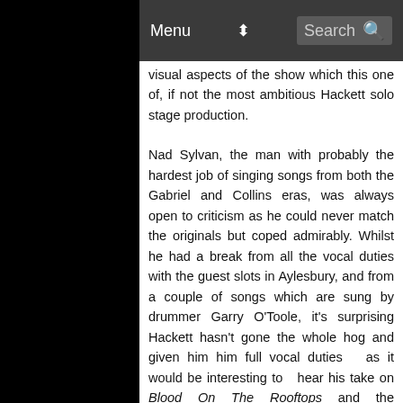Menu  ⬍  Search 🔍
visual aspects of the show which this one of, if not the most ambitious Hackett solo stage production.
Nad Sylvan, the man with probably the hardest job of singing songs from both the Gabriel and Collins eras, was always open to criticism as he could never match the originals but coped admirably. Whilst he had a break from all the vocal duties with the guest slots in Aylesbury, and from a couple of songs which are sung by drummer Garry O'Toole, it's surprising Hackett hasn't gone the whole hog and given him him full vocal duties  as it would be interesting to  hear his take on Blood On The Rooftops and the Fly/Windshield section. Fans will be used to the singing drummer routine with Garry O'Toole, yet some find his vocals a bit 'shouty'  so a bit of variety certainly wouldn't go amiss. Not only did